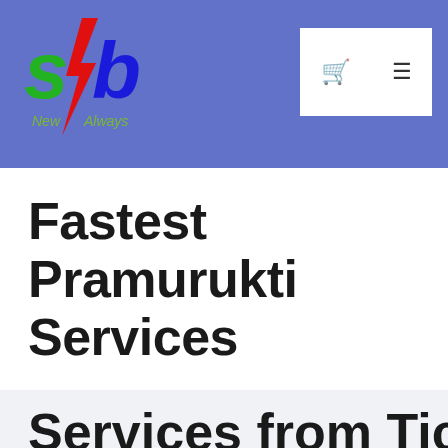[Figure (logo): SB logo with lightning bolt, red and blue letters 's' and 'b', green lightning bolt, text 'New Always' beneath]
Fastest Pramurukti Services
Services from Ticket...